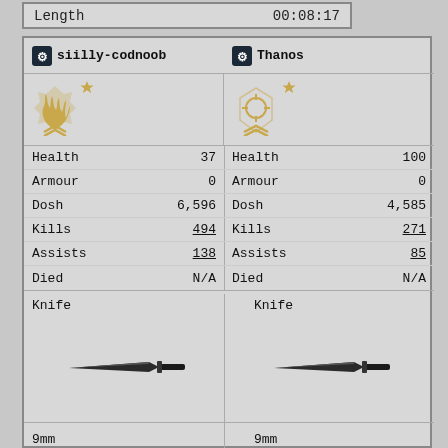| Length | 00:08:17 |
| --- | --- |
siilly-codnoob
Thanos
[Figure (illustration): Gold flame rank badge with star for player siilly-codnoob]
[Figure (illustration): Gold crosshair rank badge with star for player Thanos]
| Stat | Value |
| --- | --- |
| Health | 37 |
| Armour | 0 |
| Dosh | 6,596 |
| Kills | 494 |
| Assists | 138 |
| Died | N/A |
| Stat | Value |
| --- | --- |
| Health | 100 |
| Armour | 0 |
| Dosh | 4,585 |
| Kills | 271 |
| Assists | 85 |
| Died | N/A |
Knife
Knife
[Figure (illustration): Dark combat knife facing left]
[Figure (illustration): Dark combat knife facing left]
9mm
9mm